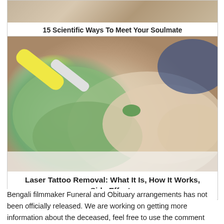[Figure (photo): Partial photo of a person's face/neck, cropped at top]
15 Scientific Ways To Meet Your Soulmate
[Figure (photo): Photo of a gloved hand using a laser device on an ankle tattoo during laser tattoo removal procedure]
Laser Tattoo Removal: What It Is, How It Works, Side Effects
Bengali filmmaker Funeral and Obituary arrangements has not been officially released. We are working on getting more information about the deceased, feel free to use the comment section if you have any information about this story.